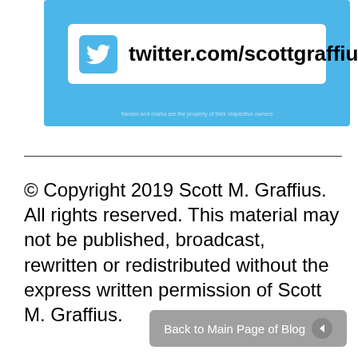[Figure (screenshot): Twitter banner with white rounded box containing Twitter bird icon and handle 'twitter.com/scottgraffius'. Small text at bottom reads 'Names and marks are the property of their respective owners'.]
© Copyright 2019 Scott M. Graffius. All rights reserved. This material may not be published, broadcast, rewritten or redistributed without the express written permission of Scott M. Graffius.
Back to Main Page of Blog